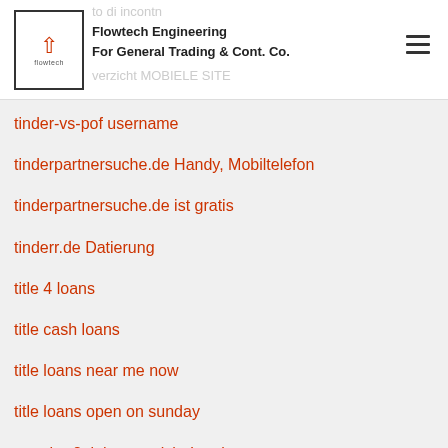Flowtech Engineering For General Trading & Cont. Co.
tinder-vs-pof username
tinderpartnersuche.de Handy, Mobiltelefon
tinderpartnersuche.de ist gratis
tinderr.de Datierung
title 4 loans
title cash loans
title loans near me now
title loans open on sunday
together2night-overzicht Log in
Top Dating Sites online
Top Dating Sites services